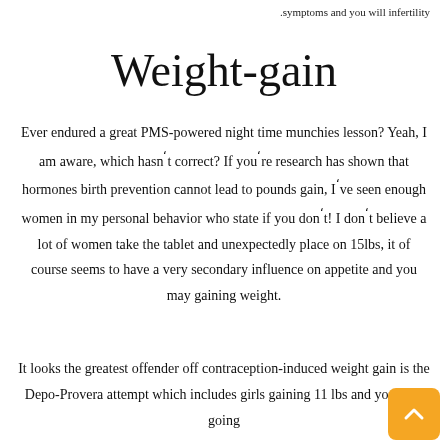.symptoms and you will infertility
Weight-gain
Ever endured a great PMS-powered night time munchies lesson? Yeah, I am aware, which hasn't correct? If you're research has shown that hormones birth prevention cannot lead to pounds gain, I've seen enough women in my personal behavior who state if you don't! I don't believe a lot of women take the tablet and unexpectedly place on 15lbs, it of course seems to have a very secondary influence on appetite and you may gaining weight.
It looks the greatest offender off contraception-induced weight gain is the Depo-Provera attempt which includes girls gaining 11 lbs and you may going